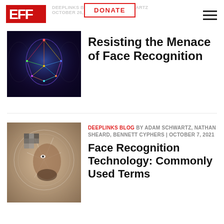EFF | DONATE | DEEPLINKS BLOG BY ADAM SCHWARTZ | OCTOBER 26, 2021
[Figure (illustration): Colorful geometric face with rainbow neural network lines on dark background]
Resisting the Menace of Face Recognition
[Figure (photo): Half-pixelated, half-wireframe artistic portrait of a bearded man on vintage background]
DEEPLINKS BLOG BY ADAM SCHWARTZ, NATHAN SHEARD, BENNETT CYPHERS | OCTOBER 7, 2021
Face Recognition Technology: Commonly Used Terms